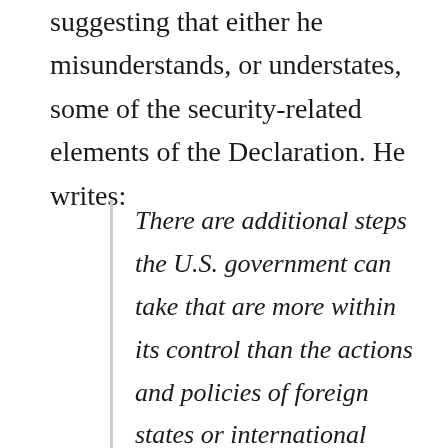suggesting that either he misunderstands, or understates, some of the security-related elements of the Declaration. He writes:
There are additional steps the U.S. government can take that are more within its control than the actions and policies of foreign states or international organizations. The future of the Internet declaration contains a series of supporting principles and measures on freedom and